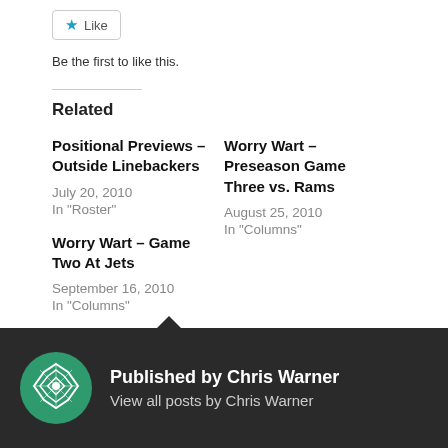[Figure (other): Like button with blue star icon]
Be the first to like this.
Related
Positional Previews – Outside Linebackers
July 20, 2010
In "Roster"
Worry Wart – Preseason Game Three vs. Rams
August 25, 2010
In "Columns"
Worry Wart – Game Two At Jets
September 16, 2010
In "Columns"
Published by Chris Warner
View all posts by Chris Warner